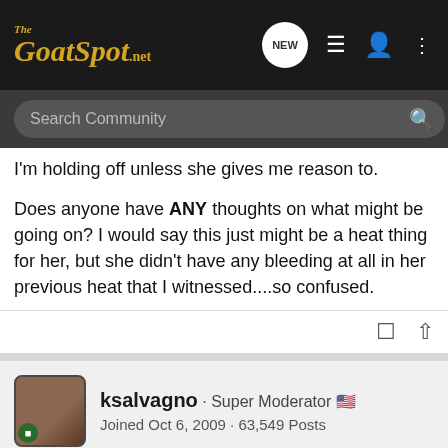The GoatSpot.net - navigation bar with search
I'm holding off unless she gives me reason to.

Does anyone have ANY thoughts on what might be going on? I would say this just might be a heat thing for her, but she didn't have any bleeding at all in her previous heat that I witnessed....so confused.
ksalvagno · Super Moderator
Joined Oct 6, 2009 · 63,549 Posts
#3 · Dec 19, 2013
Sometimes there can be some bloody mucous from breeding